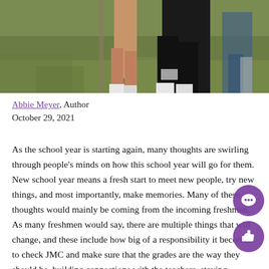[Figure (photo): Outdoor photo of two people standing on grass, partially cropped — showing their legs and lower bodies. One person on the left in light-colored clothing, one on the right in black.]
Abbie Meyer, Author
October 29, 2021
As the school year is starting again, many thoughts are swirling through people's minds on how this school year will go for them. New school year means a fresh start to meet new people, try new things, and most importantly, make memories. Many of these thoughts would mainly be coming from the incoming freshmen. As many freshmen would say, there are multiple things that will change, and these include how big of a responsibility it becomes to check JMC and make sure that the grades are the way they should be, building connections with the teachers, staying involved, and achieving goals for sports.